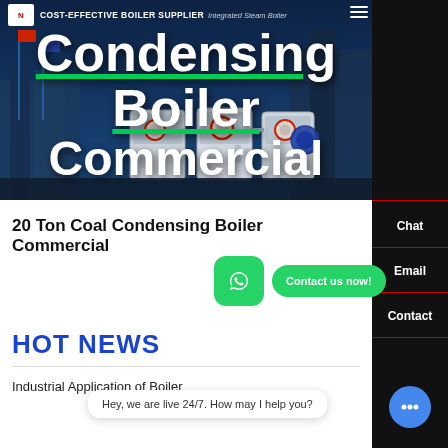COST-EFFECTIVE BOILER SUPPLIER | Integrated Steam Boiler
[Figure (photo): Hero banner showing industrial condensing boilers against a blue industrial building background. Large white bold text reads 'Condensing Boiler Commercial'.]
Condensing Boiler Commercial
20 Ton Coal Condensing Boiler Commercial
HOT NEWS
Industrial Application of Boiler
Hey, we are live 24/7. How may I help you?
Chat
Email
Contact